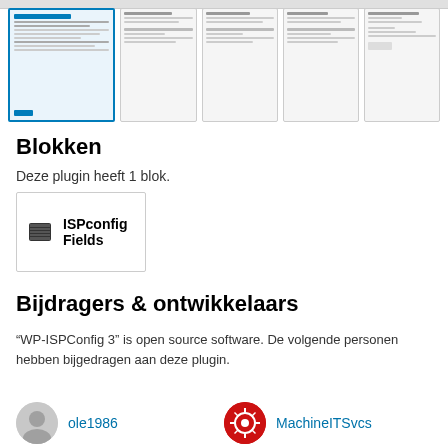[Figure (screenshot): A row of 5 screenshot thumbnails of a WordPress plugin admin interface, with the first one highlighted/selected with a blue border.]
Blokken
Deze plugin heeft 1 blok.
[Figure (infographic): A block card with a grid/table icon and the label 'ISPconfig Fields']
Bijdragers & ontwikkelaars
“WP-ISPConfig 3” is open source software. De volgende personen hebben bijgedragen aan deze plugin.
ole1986   MachineITSvcs